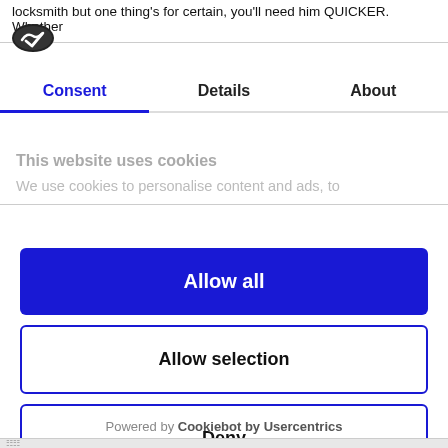locksmith but one thing's for certain, you'll need him QUICKER. Whether
[Figure (logo): Cookiebot logo - dark oval badge with checkmark]
Consent | Details | About
This website uses cookies
We use cookies to personalise content and ads, to
Allow all
Allow selection
Deny
Powered by Cookiebot by Usercentrics